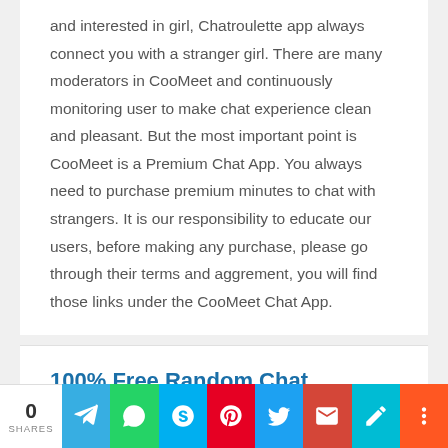and interested in girl, Chatroulette app always connect you with a stranger girl. There are many moderators in CooMeet and continuously monitoring user to make chat experience clean and pleasant. But the most important point is CooMeet is a Premium Chat App. You always need to purchase premium minutes to chat with strangers. It is our responsibility to educate our users, before making any purchase, please go through their terms and aggrement, you will find those links under the CooMeet Chat App.
100% Free Random Chat
In Omegle Webcam, random text chat service
0 SHARES